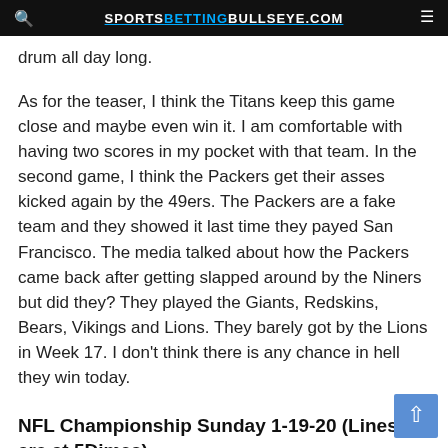SPORTSBETTINGBULLSEYE.COM
drum all day long.
As for the teaser, I think the Titans keep this game close and maybe even win it. I am comfortable with having two scores in my pocket with that team. In the second game, I think the Packers get their asses kicked again by the 49ers. The Packers are a fake team and they showed it last time they payed San Francisco. The media talked about how the Packers came back after getting slapped around by the Niners but did they? They played the Giants, Redskins, Bears, Vikings and Lions. They barely got by the Lions in Week 17. I don't think there is any chance in hell they win today.
NFL Championship Sunday 1-19-20 (Lines are at 5Dimes)